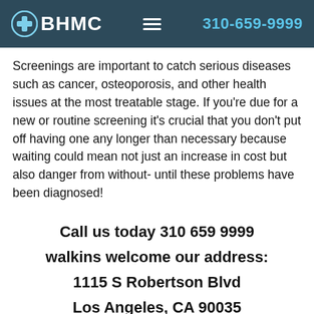BHMC  310-659-9999
Screenings are important to catch serious diseases such as cancer, osteoporosis, and other health issues at the most treatable stage. If you're due for a new or routine screening it's crucial that you don't put off having one any longer than necessary because waiting could mean not just an increase in cost but also danger from without- until these problems have been diagnosed!
Call us today 310 659 9999 walkins welcome our address: 1115 S Robertson Blvd Los Angeles, CA 90035